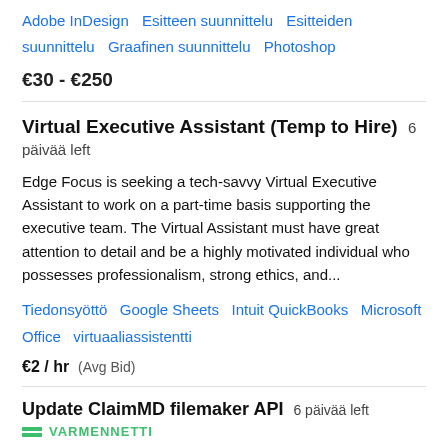Adobe InDesign   Esitteen suunnittelu   Esitteiden suunnittelu   Graafinen suunnittelu   Photoshop
€30 - €250
Virtual Executive Assistant (Temp to Hire)  6 päivää left
Edge Focus is seeking a tech-savvy Virtual Executive Assistant to work on a part-time basis supporting the executive team. The Virtual Assistant must have great attention to detail and be a highly motivated individual who possesses professionalism, strong ethics, and...
Tiedonsyöttö   Google Sheets   Intuit QuickBooks   Microsoft Office   virtuaaliassistentti
€2 / hr  (Avg Bid)
Update ClaimMD filemaker API  6 päivää left
VARMENNETTI